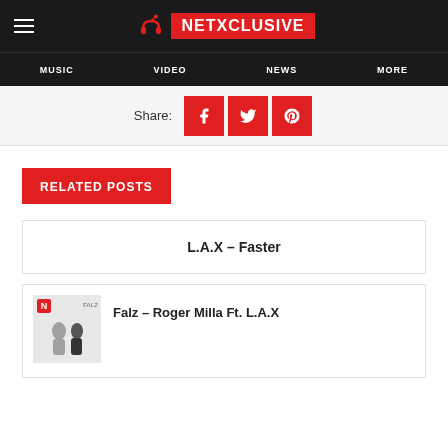NETXCLUSIVE — MUSIC | VIDEO | NEWS | MORE
Share:
RELATED POSTS
L.A.X – Faster
[Figure (photo): Thumbnail image for Falz – Roger Milla Ft. L.A.X post]
Falz – Roger Milla Ft. L.A.X